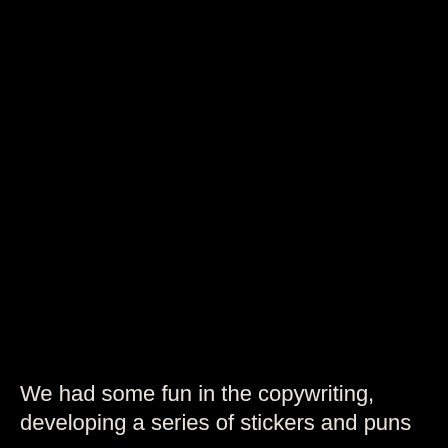[Figure (photo): Dark/black background image occupying the upper portion of the page]
We had some fun in the copywriting, developing a series of stickers and puns to accompany this creative, which had